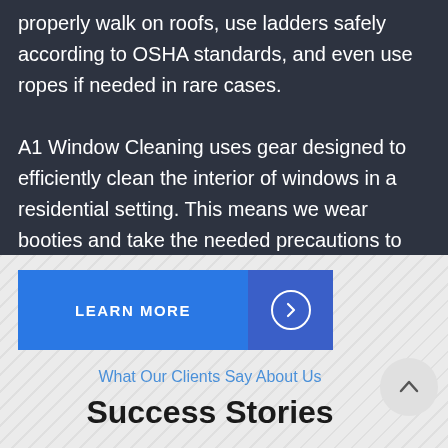properly walk on roofs, use ladders safely according to OSHA standards, and even use ropes if needed in rare cases. A1 Window Cleaning uses gear designed to efficiently clean the interior of windows in a residential setting. This means we wear booties and take the needed precautions to make sure no damage is done to sills, floors, or other adjacent furniture.
LEARN MORE
What Our Clients Say About Us
Success Stories